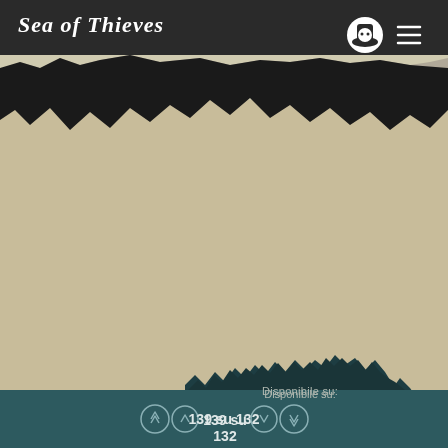[Figure (screenshot): Sea of Thieves game website screenshot showing the game logo top-left, pirate icon and hamburger menu top-right, a sandy/beach themed background with dark torn paper edge effect at top, a dark teal rocky shape at the bottom center with 'Disponibile su:' text, and a pagination bar at the bottom showing '139 su 139' with navigation arrows]
Disponibile su:
139 su 132